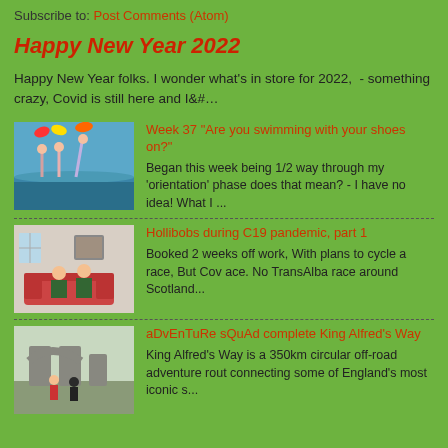Subscribe to: Post Comments (Atom)
Happy New Year 2022
Happy New Year folks. I wonder what's in store for 2022,  - something crazy, Covid is still here and I&#...
[Figure (photo): People standing in water with colorful umbrellas raised]
Week 37 "Are you swimming with your shoes on?"
Began this week being 1/2 way through my 'orientation' phase does that mean? - I have no idea! What I ...
[Figure (photo): Two people sitting on a sofa in a living room]
Hollibobs during C19 pandemic, part 1
Booked 2 weeks off work, With plans to cycle a race, But Cov ace. No TransAlba race around Scotland...
[Figure (photo): Two people standing in front of stone arch monuments]
aDvEnTuRe sQuAd complete King Alfred's Way
King Alfred's Way is a 350km circular off-road adventure rout connecting some of England's most iconic s...